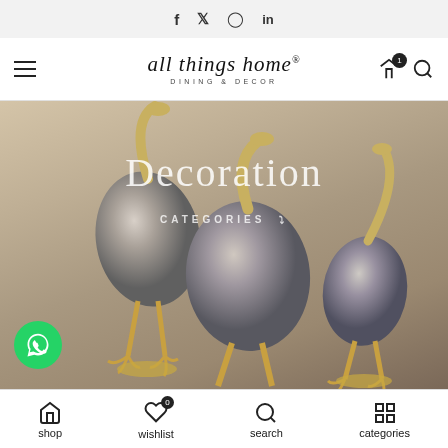f  twitter  instagram  in
all things home® DINING & DECOR — navigation bar with cart and search
[Figure (photo): Hero banner showing three metallic bird sculptures (crane/heron-like) with golden legs and smoky grey oval bodies, on a light stone background. Text overlay reads 'Decoration' and 'CATEGORIES ∨'. A WhatsApp button appears bottom-left.]
shop | wishlist (0) | search | categories